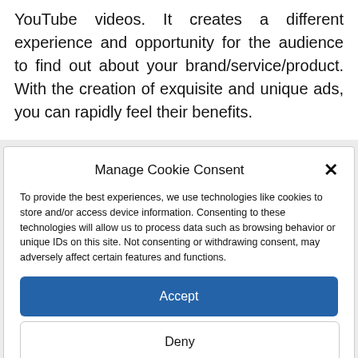YouTube videos. It creates a different experience and opportunity for the audience to find out about your brand/service/product. With the creation of exquisite and unique ads, you can rapidly feel their benefits.
Manage Cookie Consent
To provide the best experiences, we use technologies like cookies to store and/or access device information. Consenting to these technologies will allow us to process data such as browsing behavior or unique IDs on this site. Not consenting or withdrawing consent, may adversely affect certain features and functions.
Accept
Deny